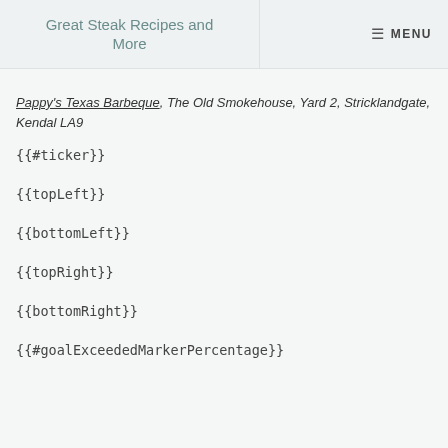Great Steak Recipes and More  MENU
Pappy's Texas Barbeque, The Old Smokehouse, Yard 2, Stricklandgate, Kendal LA9
{{#ticker}}
{{topLeft}}
{{bottomLeft}}
{{topRight}}
{{bottomRight}}
{{#goalExceededMarkerPercentage}}